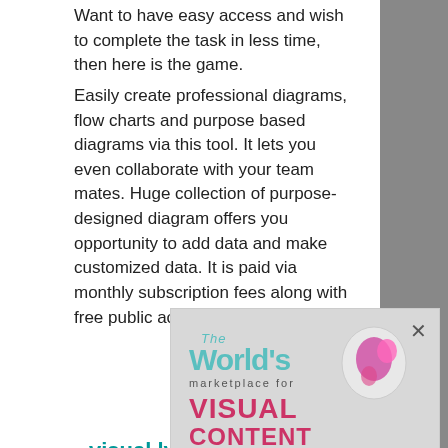Want to have easy access and wish to complete the task in less time, then here is the game. Easily create professional diagrams, flow charts and purpose based diagrams via this tool. It lets you even collaborate with your team mates. Huge collection of purpose-designed diagram offers you opportunity to add data and make customized data. It is paid via monthly subscription fees along with free public account access.
visual.ly
[Figure (other): Advertisement image showing 'The World's marketplace for VISUAL CONTENT' with a pink globe graphic and a close (X) button]